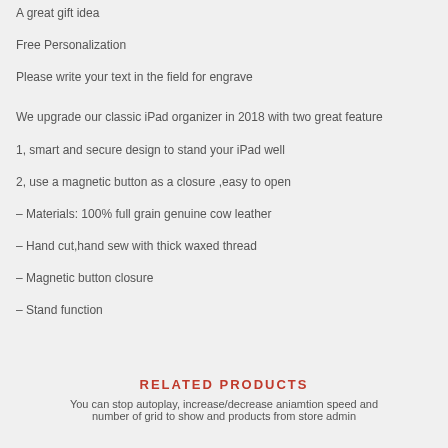A great gift idea
Free Personalization
Please write your text in the field for engrave
We upgrade our classic iPad organizer in 2018 with two great feature
1, smart and secure design to stand your iPad well
2, use a magnetic button as a closure ,easy to open
– Materials: 100% full grain genuine cow leather
– Hand cut,hand sew with thick waxed thread
– Magnetic button closure
– Stand function
RELATED PRODUCTS
You can stop autoplay, increase/decrease aniamtion speed and number of grid to show and products from store admin